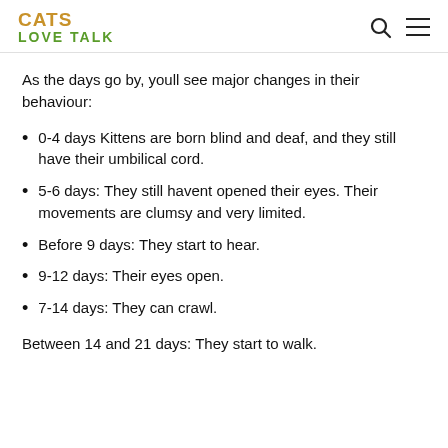CATS LOVE TALK
As the days go by, youll see major changes in their behaviour:
0-4 days Kittens are born blind and deaf, and they still have their umbilical cord.
5-6 days: They still havent opened their eyes. Their movements are clumsy and very limited.
Before 9 days: They start to hear.
9-12 days: Their eyes open.
7-14 days: They can crawl.
Between 14 and 21 days: They start to walk.